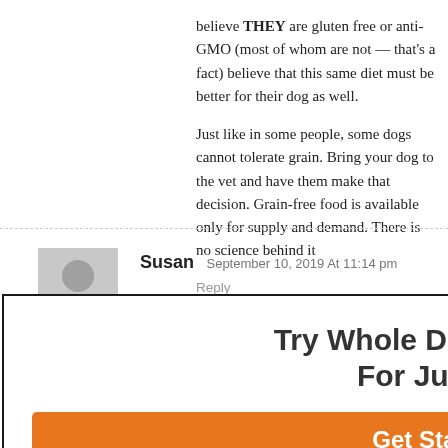believe THEY are gluten free or anti-GMO (most of whom are not — that's a fact) believe that this same diet must be better for their dog as well.
Just like in some people, some dogs cannot tolerate grain. Bring your dog to the vet and have them make that decision. Grain-free food is available only for supply and demand. There is no science behind it
Reply
Susan  September 10, 2019 At 11:14 pm
Oh my gosh. What has happened to the world? After not
Try Whole Dog Journal For Just $1
Get Started